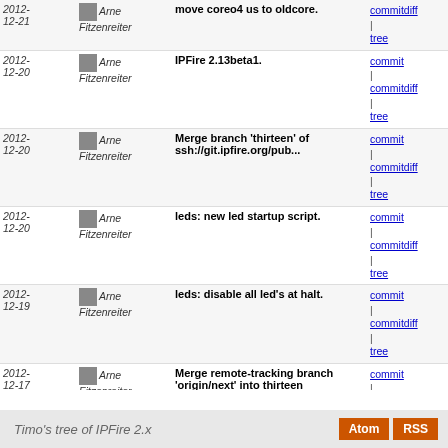| Date | Author | Message | Links |
| --- | --- | --- | --- |
| 2012-12-21 | Arne Fitzenreiter | move coreo4 us to oldcore. | commit | commitdiff | tree |
| 2012-12-20 | Arne Fitzenreiter | IPFire 2.13beta1. | commit | commitdiff | tree |
| 2012-12-20 | Arne Fitzenreiter | Merge branch 'thirteen' of ssh://git.ipfire.org/pub... | commit | commitdiff | tree |
| 2012-12-20 | Arne Fitzenreiter | leds: new led startup script. | commit | commitdiff | tree |
| 2012-12-19 | Arne Fitzenreiter | leds: disable all led's at halt. | commit | commitdiff | tree |
| 2012-12-17 | Arne Fitzenreiter | Merge remote-tracking branch 'origin/next' into thirteen | commit | commitdiff | tree |
| 2012-12-17 | Arne Fitzenreiter | updater: remove grub-install drivecheck. | commit | commitdiff | tree |
| 2012-12-17 | Arne Fitzenreiter | Merge remote-tracking branch 'origin/next' into thirteen | commit | commitdiff | tree |
| 2012-12-17 | Arne Fitzenreiter | samba: update to 3.5.20. | commit | commitdiff | tree |
| 2012-12-17 | Arne Fitzenreiter | Merge remote-tracking branch 'origin/next' into thirteen | commit | commitdiff | tree |
| 2012-12-17 | Arne Fitzenreiter | Merge branch 'thirteen' of ssh://git.ipfire.org/pub... | commit | commitdiff | tree |
next
Timo's tree of IPFire 2.x